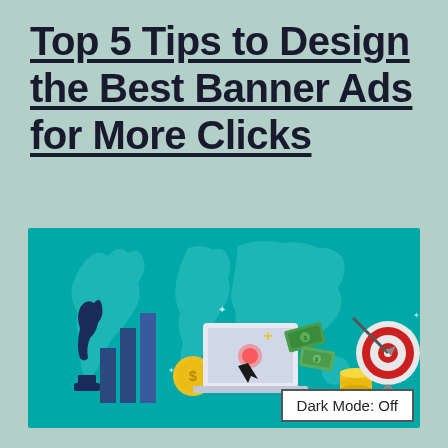Top 5 Tips to Design the Best Banner Ads for More Clicks
[Figure (illustration): Flat design illustration on teal/turquoise background with world map outline. Features: chess knight piece, bar chart bars in blue, a gold dollar coin, a laptop with cursor clicking with dollar bills flying, stacked gold coins, a target/bullseye with arrow, and sparkle/star decorations.]
Dark Mode: Off